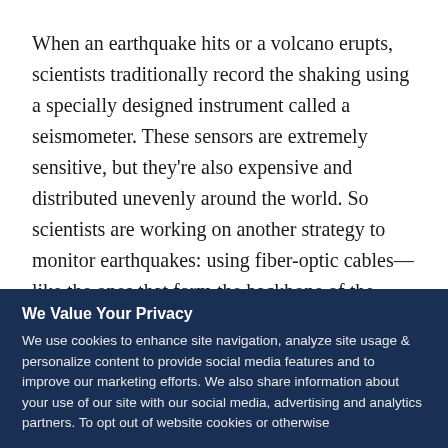When an earthquake hits or a volcano erupts, scientists traditionally record the shaking using a specially designed instrument called a seismometer. These sensors are extremely sensitive, but they're also expensive and distributed unevenly around the world. So scientists are working on another strategy to monitor earthquakes: using fiber-optic cables—like the ones that form the backbone of the internet.
“So the motions are very clear. Specifically, you can see
We Value Your Privacy
We use cookies to enhance site navigation, analyze site usage & personalize content to provide social media features and to improve our marketing efforts. We also share information about your use of our site with our social media, advertising and analytics partners. To opt out of website cookies or otherwise